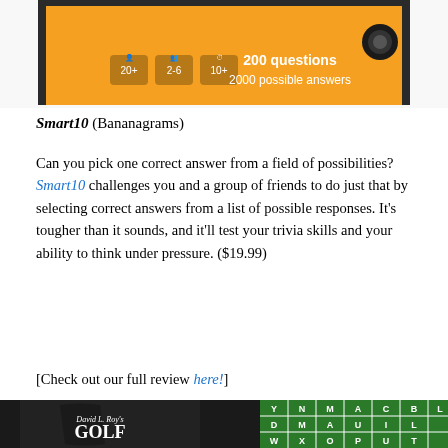[Figure (photo): Top portion of a board game box with orange background showing '200 questions 2000 possible answers' and player icons]
Smart10 (Bananagrams)
Can you pick one correct answer from a field of possibilities? Smart10 challenges you and a group of friends to do just that by selecting correct answers from a list of possible responses. It's tougher than it sounds, and it'll test your trivia skills and your ability to think under pressure. ($19.99)
[Check out our full review here!]
[Figure (photo): Bottom image showing a black bag with 'David L. Roy's GOLF' text and a green letter grid game board]